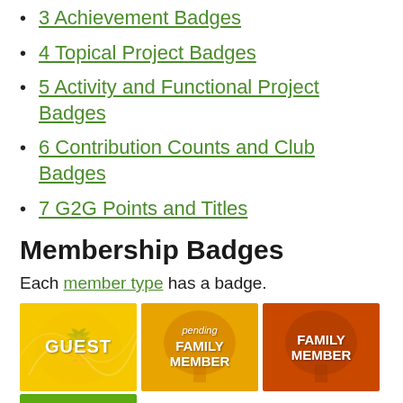3 Achievement Badges
4 Topical Project Badges
5 Activity and Functional Project Badges
6 Contribution Counts and Club Badges
7 G2G Points and Titles
Membership Badges
Each member type has a badge.
[Figure (illustration): Three membership badge images in a row: Guest badge (yellow/gold), pending Family Member badge (gold/amber), and Family Member badge (orange/red). A partial green Wiki badge appears below.]